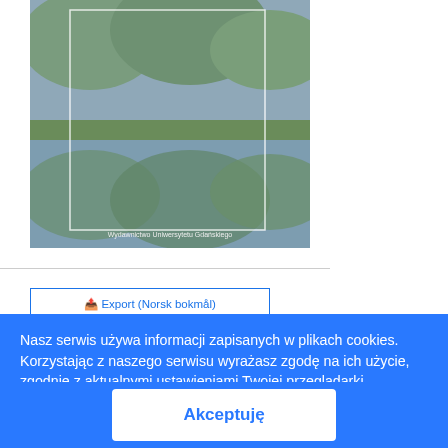[Figure (photo): Book cover showing a landscape with a lake and green hills reflecting in the water. Text at the bottom reads 'Wydawnictwo Uniwersytetu Gdańskiego'.]
Export (Norsk bokmal)
Nasz serwis używa informacji zapisanych w plikach cookies. Korzystając z naszego serwisu wyrażasz zgodę na ich użycie, zgodnie z aktualnymi ustawieniami Twojej przeglądarki.
Dowiedz się więcej
Akceptuję
Steniluvar. (2021). Antedannien III & jobb, VIII (Milada Blekastads virksomhet). Studia
(Milada Blekastads virksomhet). Studia